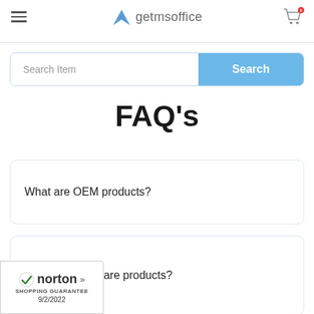getmsoffice
Search Item
Search
FAQ's
What are OEM products?
What are Retail Software products?
[Figure (logo): Norton Shopping Guarantee badge with checkmark, date 9/2/2022]